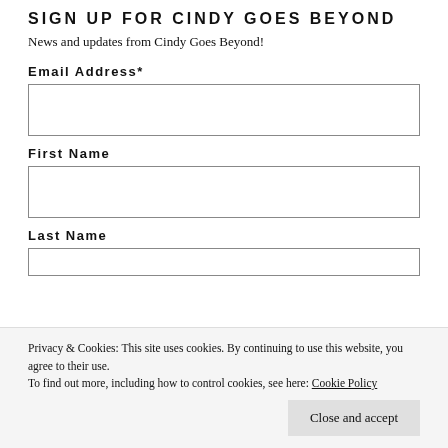SIGN UP FOR CINDY GOES BEYOND
News and updates from Cindy Goes Beyond!
Email Address*
First Name
Last Name
Privacy & Cookies: This site uses cookies. By continuing to use this website, you agree to their use.
To find out more, including how to control cookies, see here: Cookie Policy
Close and accept